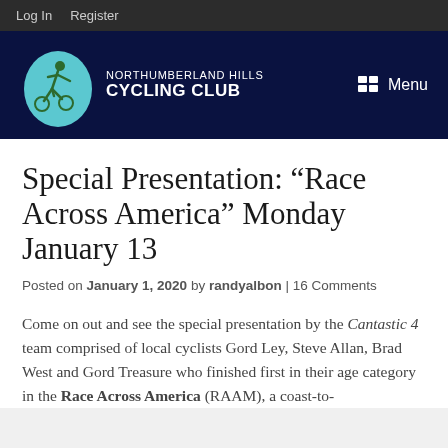Log In   Register
[Figure (logo): Northumberland Hills Cycling Club logo: teal oval with green cyclist figure, beside white text 'NORTHUMBERLAND HILLS CYCLING CLUB' on dark navy background, with Menu icon top right]
Special Presentation: “Race Across America” Monday January 13
Posted on January 1, 2020 by randyalbon | 16 Comments
Come on out and see the special presentation by the Cantastic 4 team comprised of local cyclists Gord Ley, Steve Allan, Brad West and Gord Treasure who finished first in their age category in the Race Across America (RAAM), a coast-to-